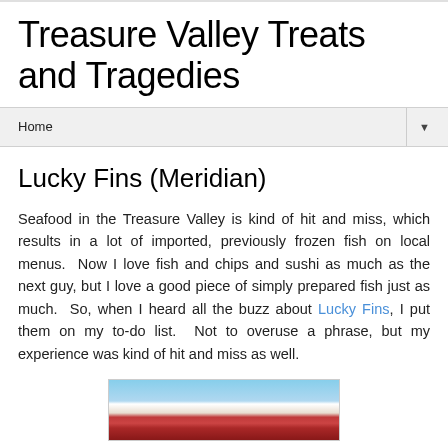Treasure Valley Treats and Tragedies
Home
Lucky Fins (Meridian)
Seafood in the Treasure Valley is kind of hit and miss, which results in a lot of imported, previously frozen fish on local menus.  Now I love fish and chips and sushi as much as the next guy, but I love a good piece of simply prepared fish just as much.  So, when I heard all the buzz about Lucky Fins, I put them on my to-do list.  Not to overuse a phrase, but my experience was kind of hit and miss as well.
[Figure (photo): Exterior photo of Lucky Fins restaurant building with red roof under blue sky with clouds]